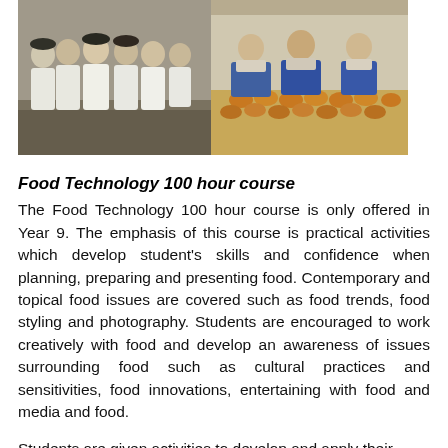[Figure (photo): Two side-by-side photos: left shows a group of students in white chef uniforms posing together; right shows students in blue aprons working behind a table with baked goods.]
Food Technology 100 hour course
The Food Technology 100 hour course is only offered in Year 9. The emphasis of this course is practical activities which develop student's skills and confidence when planning, preparing and presenting food. Contemporary and topical food issues are covered such as food trends, food styling and photography. Students are encouraged to work creatively with food and develop an awareness of issues surrounding food such as cultural practices and sensitivities, food innovations, entertaining with food and media and food.
Students are given activities to develop and apply their